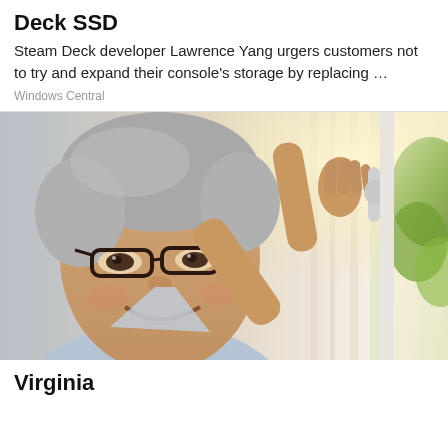Deck SSD
Steam Deck developer Lawrence Yang urgers customers not to try and expand their console's storage by replacing …
Windows Central
[Figure (photo): Middle-aged man with grey hair and glasses smiling, reaching to open a white window, with curtains and green foliage visible outside in bright light.]
Virginia